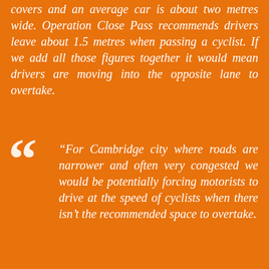covers and an average car is about two metres wide. Operation Close Pass recommends drivers leave about 1.5 metres when passing a cyclist. If we add all those figures together it would mean drivers are moving into the opposite lane to overtake.
"For Cambridge city where roads are narrower and often very congested we would be potentially forcing motorists to drive at the speed of cyclists when there isn't the recommended space to overtake.
"Cyclists are vulnerable road users and it's important that we are doing all we can to make the roads safer for everyone but at this time we don't believe Operation Close Pass in its current format is practical in